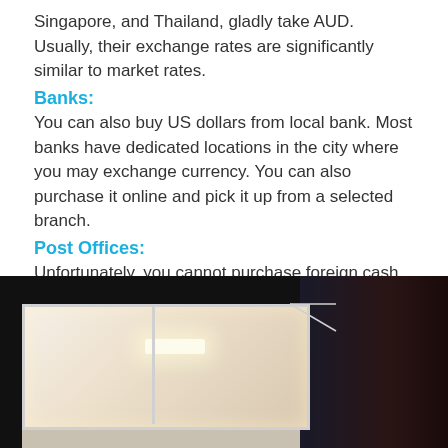Singapore, and Thailand, gladly take AUD. Usually, their exchange rates are significantly similar to market rates.
Banks:
You can also buy US dollars from local bank. Most banks have dedicated locations in the city where you may exchange currency. You can also purchase it online and pick it up from a selected branch.
Post Offices:
Unfortunately, you cannot purchase foreign cash from Australia post stores. It must be done online and will take upto 5 business days. Its also expensive to Buy US dollars from post offices.
[Figure (photo): Interior view through a window of what appears to be a bank or post office building, showing bright interior lighting against a dark exterior surroundings.]